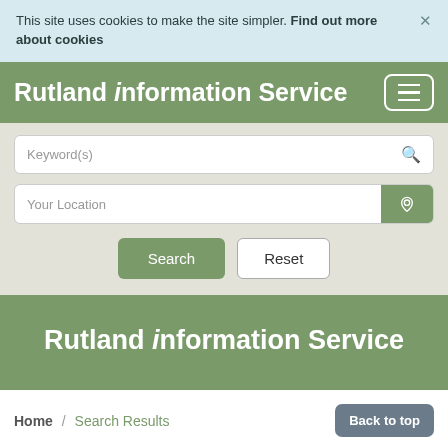This site uses cookies to make the site simpler. Find out more about cookies
[Figure (screenshot): Navigation bar with Rutland information Service logo and hamburger menu icon on green background]
[Figure (screenshot): Search form with Keyword(s) text input with search icon, Your Location input with green location button, and Search/Reset buttons on grey background]
Rutland information Service
Home / Search Results
Back to top